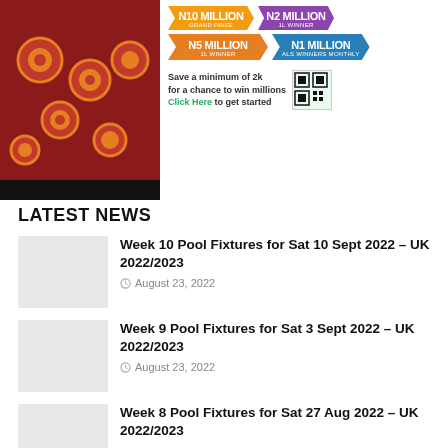[Figure (illustration): Lottery advertisement banner. Left side shows a person in colorful African print clothing. Right side shows prize amounts: N10 MILLION GRAND PRIZE, N2 MILLION, N5 MILLION, N1 MILLION with text 'Save a minimum of 2k for a chance to win millions Click Here to get started' and a QR code.]
LATEST NEWS
[Figure (photo): Thumbnail image placeholder (light gray box) for Week 10 Pool Fixtures article]
Week 10 Pool Fixtures for Sat 10 Sept 2022 – UK 2022/2023
August 23, 2022
[Figure (photo): Thumbnail image placeholder (light gray box) for Week 9 Pool Fixtures article]
Week 9 Pool Fixtures for Sat 3 Sept 2022 – UK 2022/2023
August 23, 2022
[Figure (photo): Thumbnail image placeholder (light gray box) for Week 8 Pool Fixtures article]
Week 8 Pool Fixtures for Sat 27 Aug 2022 – UK 2022/2023